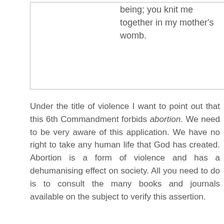[Figure (other): A bordered box/image area with a partial quote text visible on the right side reading: 'being; you knit me together in my mother's womb.']
being; you knit me together in my mother's womb.
Under the title of violence I want to point out that this 6th Commandment forbids abortion. We need to be very aware of this application. We have no right to take any human life that God has created. Abortion is a form of violence and has a dehumanising effect on society. All you need to do is to consult the many books and journals available on the subject to verify this assertion.